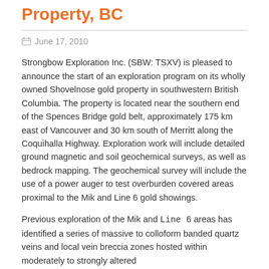Property, BC
June 17, 2010
Strongbow Exploration Inc. (SBW: TSXV) is pleased to announce the start of an exploration program on its wholly owned Shovelnose gold property in southwestern British Columbia. The property is located near the southern end of the Spences Bridge gold belt, approximately 175 km east of Vancouver and 30 km south of Merritt along the Coquihalla Highway. Exploration work will include detailed ground magnetic and soil geochemical surveys, as well as bedrock mapping. The geochemical survey will include the use of a power auger to test overburden covered areas proximal to the Mik and Line 6 gold showings.
Previous exploration of the Mik and Line 6 areas has identified a series of massive to colloform banded quartz veins and local vein breccia zones hosted within moderately to strongly altered